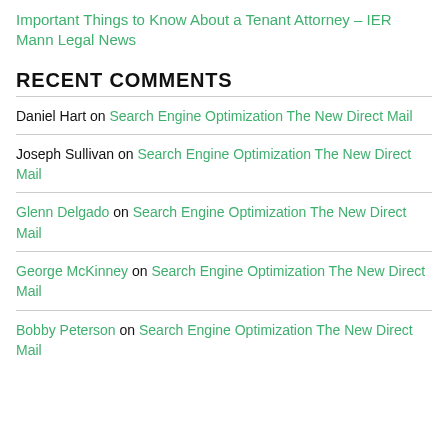Important Things to Know About a Tenant Attorney – IER Mann Legal News
RECENT COMMENTS
Daniel Hart on Search Engine Optimization The New Direct Mail
Joseph Sullivan on Search Engine Optimization The New Direct Mail
Glenn Delgado on Search Engine Optimization The New Direct Mail
George McKinney on Search Engine Optimization The New Direct Mail
Bobby Peterson on Search Engine Optimization The New Direct Mail